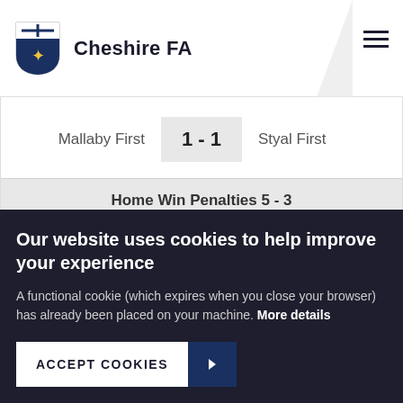Cheshire FA
Mallaby First  1 - 1  Styal First
Home Win Penalties 5 - 3
(1 - 1 after 90 minutes)
34.
Our website uses cookies to help improve your experience
A functional cookie (which expires when you close your browser) has already been placed on your machine. More details
ACCEPT COOKIES